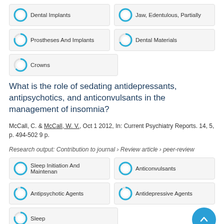Dental Implants
Jaw, Edentulous, Partially
Prostheses And Implants
Dental Materials
Crowns
What is the role of sedating antidepressants, antipsychotics, and anticonvulsants in the management of insomnia?
McCall, C. & McCall, W. V., Oct 1 2012, In: Current Psychiatry Reports. 14, 5, p. 494-502 9 p.
Research output: Contribution to journal › Review article › peer-review
Sleep Initiation And Maintenan
Anticonvulsants
Antipsychotic Agents
Antidepressive Agents
Sleep
What Is the Value and Role of Academic Medicine in